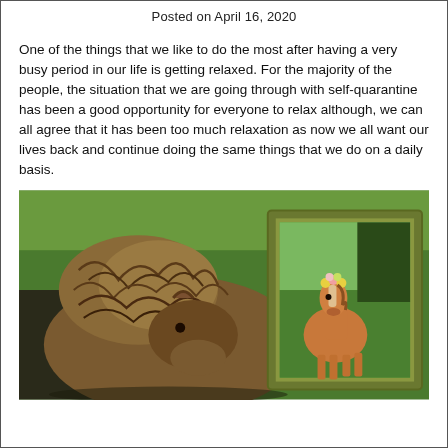Posted on April 16, 2020
One of the things that we like to do the most after having a very busy period in our life is getting relaxed. For the majority of the people, the situation that we are going through with self-quarantine has been a good opportunity for everyone to relax although, we can all agree that it has been too much relaxation as now we all want our lives back and continue doing the same things that we do on a daily basis.
[Figure (photo): A shaggy-haired pony or small horse with unkempt mane seen from behind/side, looking at a framed photograph of a well-groomed horse with a flower crown, set on green grass outdoors.]